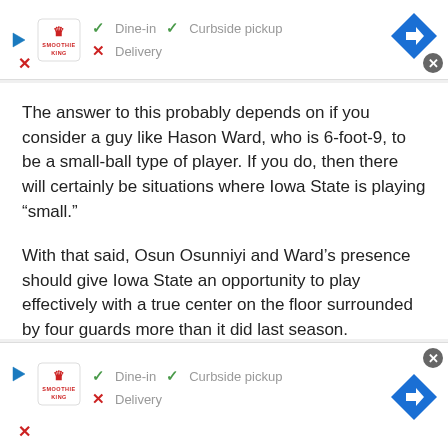[Figure (screenshot): Smoothie King ad banner top: play icon, Smoothie King logo, Dine-in checkmark, Curbside pickup checkmark, Delivery X mark, blue navigation arrow button, close X circle]
The answer to this probably depends on if you consider a guy like Hason Ward, who is 6-foot-9, to be a small-ball type of player. If you do, then there will certainly be situations where Iowa State is playing “small.”
With that said, Osun Osunniyi and Ward’s presence should give Iowa State an opportunity to play effectively with a true center on the floor surrounded by four guards more than it did last season.
I don’t think there will be near as many situations in which we see Aljaz Kunc playing the five as we did last year, but
[Figure (screenshot): Smoothie King ad banner bottom: play icon, Smoothie King logo, Dine-in checkmark, Curbside pickup checkmark, Delivery X mark, blue navigation arrow button, close X circle]